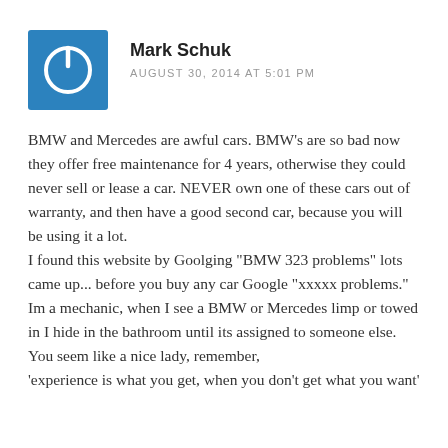[Figure (illustration): Blue square avatar icon with a power/on-off button symbol in white]
Mark Schuk
AUGUST 30, 2014 AT 5:01 PM
BMW and Mercedes are awful cars. BMW's are so bad now they offer free maintenance for 4 years, otherwise they could never sell or lease a car. NEVER own one of these cars out of warranty, and then have a good second car, because you will be using it a lot.
I found this website by Goolging "BMW 323 problems" lots came up... before you buy any car Google "xxxxx problems."
Im a mechanic, when I see a BMW or Mercedes limp or towed in I hide in the bathroom until its assigned to someone else.
You seem like a nice lady, remember,
'experience is what you get, when you don't get what you want'